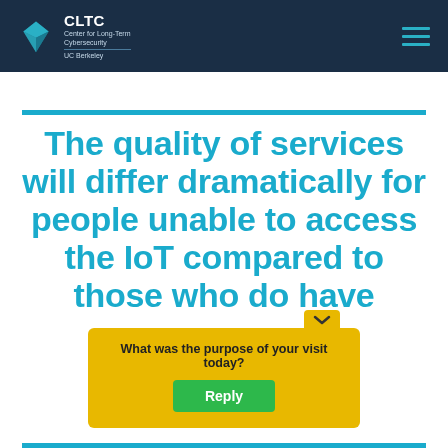CLTC — Center for Long-Term Cybersecurity, UC Berkeley
The quality of services will differ dramatically for people unable to access the IoT compared to those who do have
[Figure (screenshot): Feedback survey widget with yellow background: 'What was the purpose of your visit today?' and a green 'Reply' button]